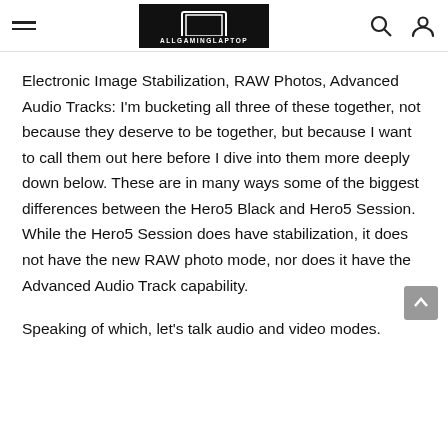ALLGAMINGLAPTOP
Electronic Image Stabilization, RAW Photos, Advanced Audio Tracks: I'm bucketing all three of these together, not because they deserve to be together, but because I want to call them out here before I dive into them more deeply down below. These are in many ways some of the biggest differences between the Hero5 Black and Hero5 Session.  While the Hero5 Session does have stabilization, it does not have the new RAW photo mode, nor does it have the Advanced Audio Track capability.
Speaking of which, let's talk audio and video modes.